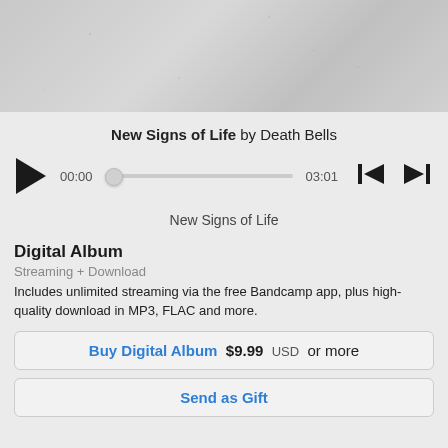[Figure (photo): Album art thumbnail - grainy/textured gray image for 'New Signs of Life' by Death Bells]
New Signs of Life by Death Bells
[Figure (other): Audio player with play button, progress bar showing 00:00 to 03:01, skip previous and skip next controls]
New Signs of Life
Digital Album
Streaming + Download
Includes unlimited streaming via the free Bandcamp app, plus high-quality download in MP3, FLAC and more.
Buy Digital Album  $9.99 USD  or more
Send as Gift